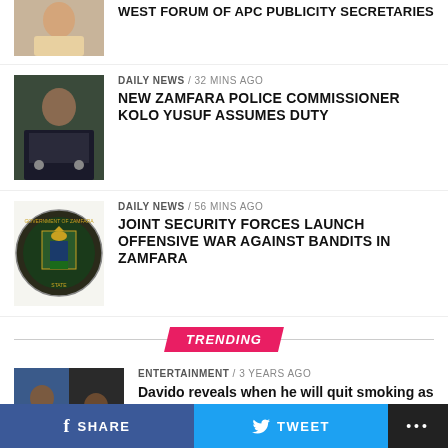[Figure (photo): Partial top news item with person photo - cropped at top]
WEST FORUM OF APC PUBLICITY SECRETARIES
[Figure (photo): Police commissioner in uniform]
DAILY NEWS / 32 mins ago
NEW ZAMFARA POLICE COMMISSIONER KOLO YUSUF ASSUMES DUTY
[Figure (logo): Government of Zamfara State seal/coat of arms]
DAILY NEWS / 56 mins ago
JOINT SECURITY FORCES LAUNCH OFFENSIVE WAR AGAINST BANDITS IN ZAMFARA
TRENDING
[Figure (photo): Two men - Davido and Don Jazzy]
ENTERTAINMENT / 3 years ago
Davido reveals when he will quit smoking as Don Jazzy celebrates one year without cigarettes
DAILY NEWS / 8 months ago
SHARE   TWEET   ...